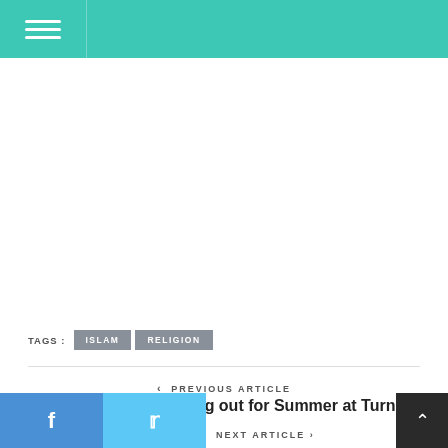Navigation menu header with teal background
TAGS : ISLAM RELIGION
< PREVIOUS ARTICLE
Nancy Vigliotti Stretching out for Summer at Turner
f  t  NEXT ARTICLE >